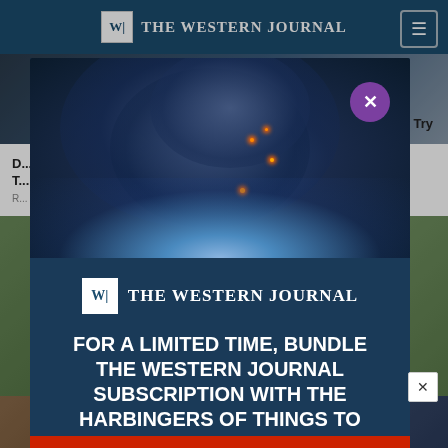THE WESTERN JOURNAL
D... T...
R...
[Figure (screenshot): The Western Journal website screenshot showing navigation bar and article thumbnails in background, with a modal popup overlay containing The Western Journal logo and promotional text]
FOR A LIMITED TIME, BUNDLE THE WESTERN JOURNAL SUBSCRIPTION WITH THE HARBINGERS OF THINGS TO COME MOVIE